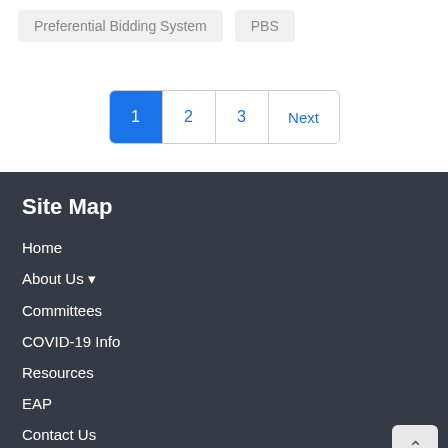| Preferential Bidding System | PBS |
1
2
3
Next
Site Map
Home
About Us ▾
Committees
COVID-19 Info
Resources
EAP
Contact Us
Français